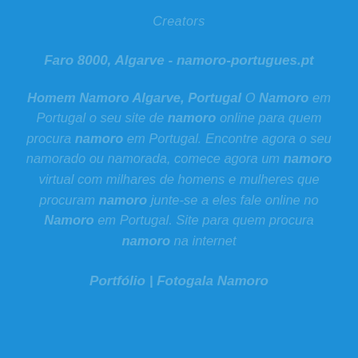Creators
Faro 8000, Algarve - namoro-portugues.pt
Homem Namoro Algarve, Portugal O Namoro em Portugal o seu site de namoro online para quem procura namoro em Portugal. Encontre agora o seu namorado ou namorada, comece agora um namoro virtual com milhares de homens e mulheres que procuram namoro junte-se a eles fale online no Namoro em Portugal. Site para quem procura namoro na internet
Portfólio | Fotogala Namoro